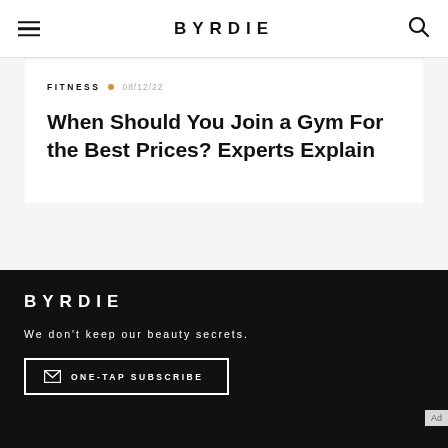BYRDIE
FITNESS · 08/12/22
When Should You Join a Gym For the Best Prices? Experts Explain
BYRDIE
We don't keep our beauty secrets.
ONE-TAP SUBSCRIBE